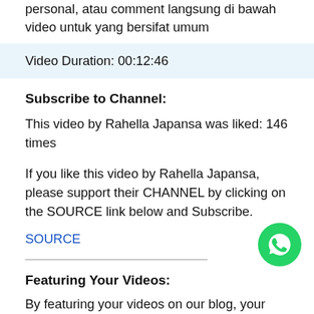personal, atau comment langsung di bawah video untuk yang bersifat umum
Video Duration: 00:12:46
Subscribe to Channel:
This video by Rahella Japansa was liked: 146 times
If you like this video by Rahella Japansa, please support their CHANNEL by clicking on the SOURCE link below and Subscribe.
SOURCE
[Figure (logo): WhatsApp green circular icon with white phone handset]
Featuring Your Videos:
By featuring your videos on our blog, your videos